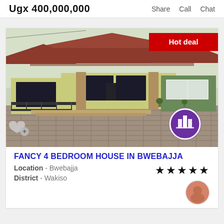Ugx 400,000,000
Share  Call  Chat
[Figure (photo): Exterior photo of a single-storey house with red tiled roof, green and cream walls, stone brick columns, large dark windows, balcony railing, and a cobblestone driveway. Badge reads 'Hot deal'. Agent logo (purple circle with white building icon) overlaid bottom-right. Heart/add icon bottom-left.]
FANCY 4 BEDROOM HOUSE IN BWEBAJJA
Location - Bwebajja
★★★★★
District - Wakiso